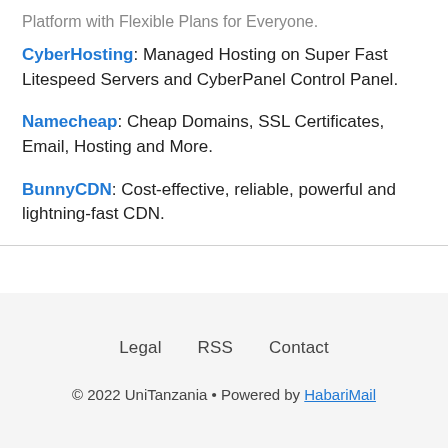CyberHosting: Managed Hosting on Super Fast Litespeed Servers and CyberPanel Control Panel.
Namecheap: Cheap Domains, SSL Certificates, Email, Hosting and More.
BunnyCDN: Cost-effective, reliable, powerful and lightning-fast CDN.
Legal   RSS   Contact
© 2022 UniTanzania • Powered by HabariMail